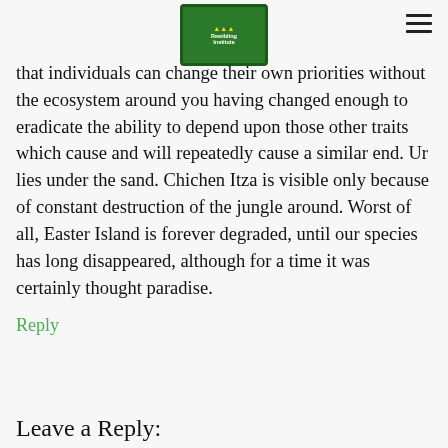[Figure (logo): Rewilding Institute logo — green mountain/forest triangles with animal silhouette, text 'Rewilding Institute']
that individuals can change their own priorities without the ecosystem around you having changed enough to eradicate the ability to depend upon those other traits which cause and will repeatedly cause a similar end. Ur lies under the sand. Chichen Itza is visible only because of constant destruction of the jungle around. Worst of all, Easter Island is forever degraded, until our species has long disappeared, although for a time it was certainly thought paradise.
Reply
Leave a Reply: